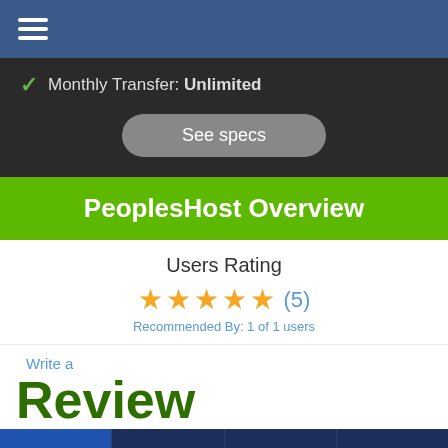Monthly Transfer: Unlimited
See specs
PeoplesHost Overview
Users Rating
★★★★★ (5)
Recommended By: 1 of 1 users
Write a Review
PLANS | OVERVIEW | USER REVIEWS | PLAN FEATURES
Get Hosting